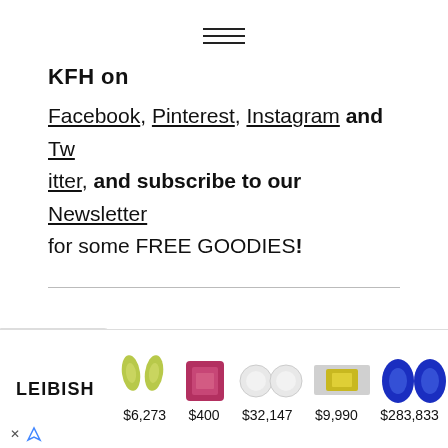[Figure (illustration): Hamburger menu icon — three horizontal lines centered at top]
KFH on
Facebook, Pinterest, Instagram and Twitter, and subscribe to our Newsletter for some FREE GOODIES!
[Figure (illustration): Advertisement banner for LEIBISH jewelry showing green pear-shaped gems ($6,273), pink emerald-cut gem ($400), white diamond studs ($32,147), yellow diamond ring ($9,990), and blue oval sapphires ($283,833)]